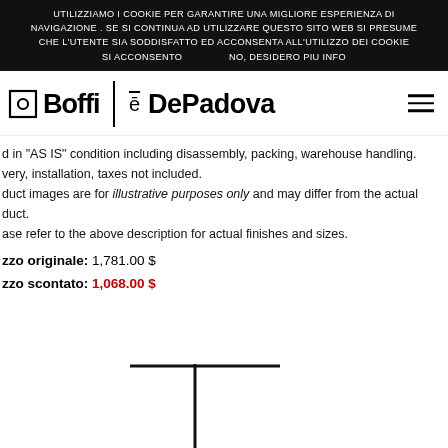UTILIZZIAMO I COOKIE PER GARANTIRE UNA MIGLIORE ESPERIENZA DI NAVIGAZIONE. SE SI CONTINUA AD UTILIZZARE QUESTO SITO WEB SI PRESUME CHE L'UTENTE SIA SODDISFATTO ED ACCONSENTA ALL'UTILIZZO DEI COOKIE
SI ACCONSENTO    NO, DESIDERO PIU INFO
[Figure (logo): Boffi | ē DePadova logo with hamburger menu icon on the right]
d in "AS IS" condition including disassembly, packing, warehouse handling.
very, installation, taxes not included.
duct images are for illustrative purposes only and may differ from the actual
duct.
ase refer to the above description for actual finishes and sizes.
zzo originale: 1,781.00 $
zzo scontato: 1,068.00 $
[Figure (other): Large plus/cross symbol drawn with two intersecting lines (vertical and horizontal black lines forming a cross/+ shape)]